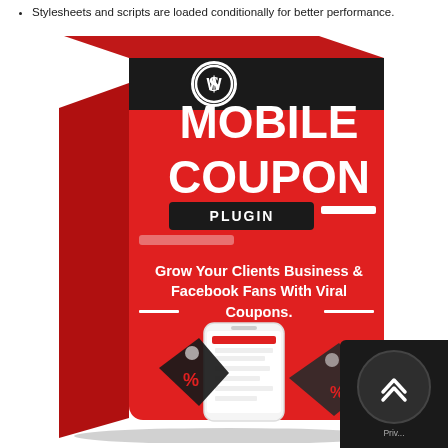Stylesheets and scripts are loaded conditionally for better performance.
[Figure (illustration): Product box illustration for 'Mobile Coupon Plugin' - a red software box featuring the WordPress logo, large white text reading 'MOBILE COUPON PLUGIN', tagline 'Grow Your Clients Business & Facebook Fans With Viral Coupons.', a smartphone displaying a coupon, and discount percentage tags.]